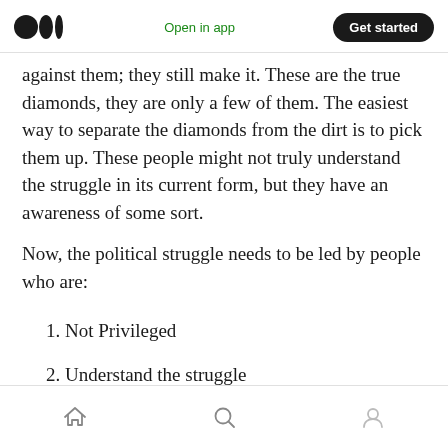Open in app | Get started
against them; they still make it. These are the true diamonds, they are only a few of them. The easiest way to separate the diamonds from the dirt is to pick them up. These people might not truly understand the struggle in its current form, but they have an awareness of some sort.
Now, the political struggle needs to be led by people who are:
1. Not Privileged
2. Understand the struggle
Navigation bar with home, search, and profile icons